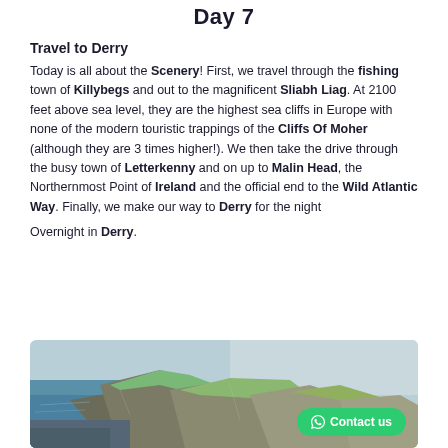Day 7
Travel to Derry
Today is all about the Scenery! First, we travel through the fishing town of Killybegs and out to the magnificent Sliabh Liag. At 2100 feet above sea level, they are the highest sea cliffs in Europe with none of the modern touristic trappings of the Cliffs Of Moher (although they are 3 times higher!). We then take the drive through the busy town of Letterkenny and on up to Malin Head, the Northernmost Point of Ireland and the official end to the Wild Atlantic Way. Finally, we make our way to Derry for the night
Overnight in Derry.
[Figure (photo): Aerial photo of coastal sea cliffs, showing dramatic rocky cliffs above green landscape and blue ocean water]